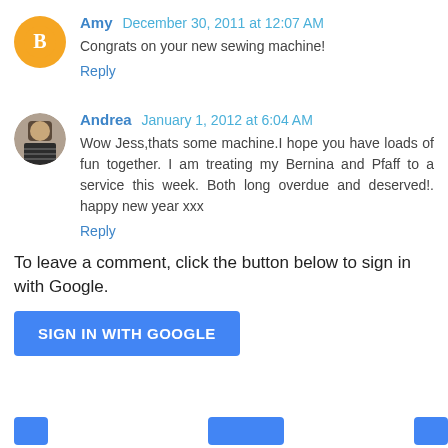Amy  December 30, 2011 at 12:07 AM
Congrats on your new sewing machine!
Reply
Andrea  January 1, 2012 at 6:04 AM
Wow Jess,thats some machine.I hope you have loads of fun together. I am treating my Bernina and Pfaff to a service this week. Both long overdue and deserved!. happy new year xxx
Reply
To leave a comment, click the button below to sign in with Google.
SIGN IN WITH GOOGLE